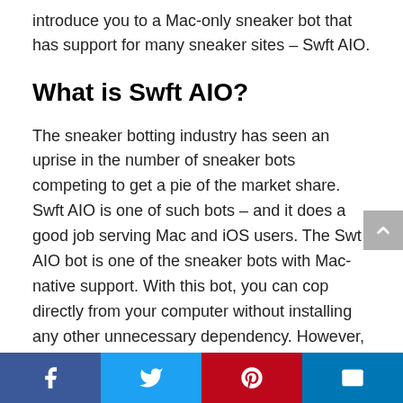introduce you to a Mac-only sneaker bot that has support for many sneaker sites – Swft AIO.
What is Swft AIO?
The sneaker botting industry has seen an uprise in the number of sneaker bots competing to get a pie of the market share. Swft AIO is one of such bots – and it does a good job serving Mac and iOS users. The Swt AIO bot is one of the sneaker bots with Mac-native support. With this bot, you can cop directly from your computer without installing any other unnecessary dependency. However, you need to know that if you're using Windows or Android, Swft AIO is not the sneaker bot for you. One thing that will get you to like Swft AIO bot is its extensive support even for sites not supported by other bots.